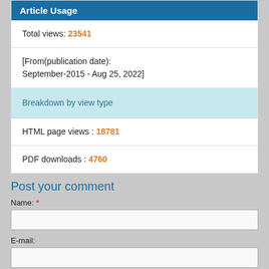Article Usage
Total views: 23541
[From(publication date): September-2015 - Aug 25, 2022]
Breakdown by view type
HTML page views : 18781
PDF downloads : 4760
Post your comment
Name: *
E-mail: